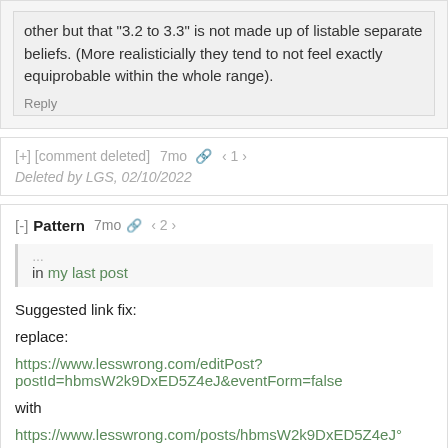other but that "3.2 to 3.3" is not made up of listable separate beliefs. (More realisticially they tend to not feel exactly equiprobable within the whole range).
Reply
[+] [comment deleted]  7mo  1
Deleted by LGS, 02/10/2022
[-] Pattern  7mo  2
in my last post
Suggested link fix:
replace:
https://www.lesswrong.com/editPost?postId=hbmsW2k9DxED5Z4eJ&eventForm=false
with
https://www.lesswrong.com/posts/hbmsW2k9DxED5Z4eJ°